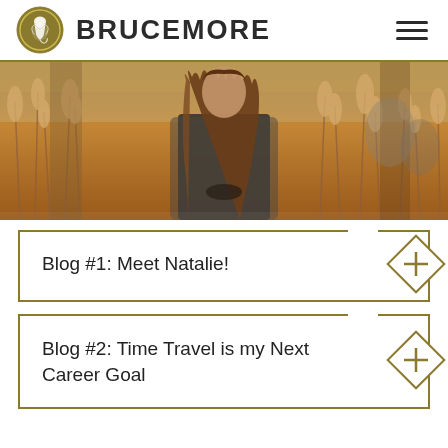BRUCEMORE
[Figure (photo): Woman with long brown hair standing in autumn golden tall grass field, wearing a patterned cardigan]
Blog #1: Meet Natalie!
Blog #2: Time Travel is my Next Career Goal